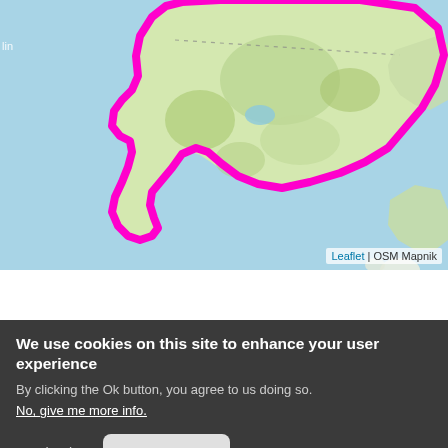[Figure (map): OpenStreetMap Leaflet map showing a coastal area with a large island outlined in magenta/pink, surrounded by light blue water. The island has green and beige land coloring with vegetation patterns. Additional smaller land masses visible to the right.]
Leaflet | OSM Mapnik
We use cookies on this site to enhance your user experience
By clicking the Ok button, you agree to us doing so.
No, give me more info.
No, thanks
OK, I agree